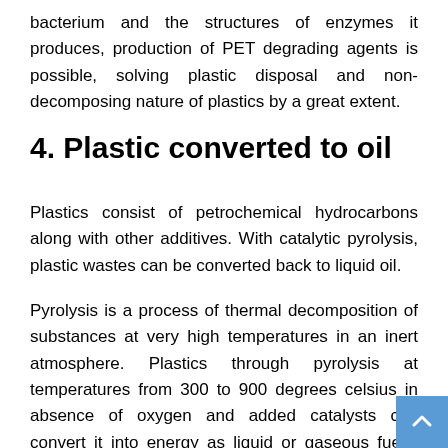bacterium and the structures of enzymes it produces, production of PET degrading agents is possible, solving plastic disposal and non-decomposing nature of plastics by a great extent.
4. Plastic converted to oil
Plastics consist of petrochemical hydrocarbons along with other additives. With catalytic pyrolysis, plastic wastes can be converted back to liquid oil.
Pyrolysis is a process of thermal decomposition of substances at very high temperatures in an inert atmosphere. Plastics through pyrolysis at temperatures from 300 to 900 degrees celsius in absence of oxygen and added catalysts can convert it into energy as liquid or gaseous fuels. There are many emerging plastic pyrolysis oil manufacturers, and the global